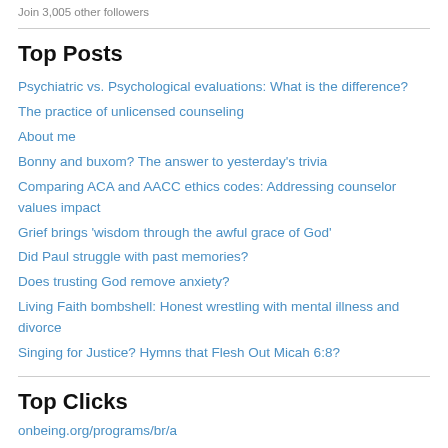Join 3,005 other followers
Top Posts
Psychiatric vs. Psychological evaluations: What is the difference?
The practice of unlicensed counseling
About me
Bonny and buxom? The answer to yesterday's trivia
Comparing ACA and AACC ethics codes: Addressing counselor values impact
Grief brings 'wisdom through the awful grace of God'
Did Paul struggle with past memories?
Does trusting God remove anxiety?
Living Faith bombshell: Honest wrestling with mental illness and divorce
Singing for Justice? Hymns that Flesh Out Micah 6:8?
Top Clicks
onbeing.org/programs/br/a